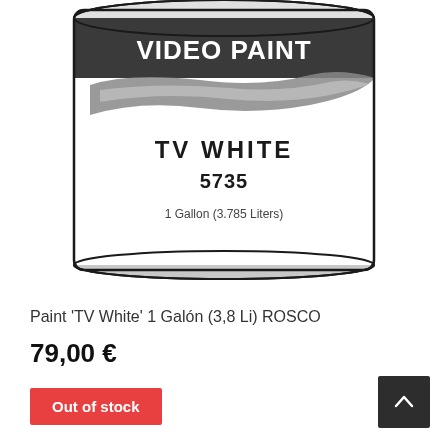[Figure (photo): A paint can with white label showing 'VIDEO PAINT' in dark band at top, a grey paint stroke across the middle, and text 'TV WHITE 5735 1 Gallon (3.785 Liters)' below.]
Paint 'TV White' 1 Galón (3,8 Li) ROSCO
79,00 €
Out of stock